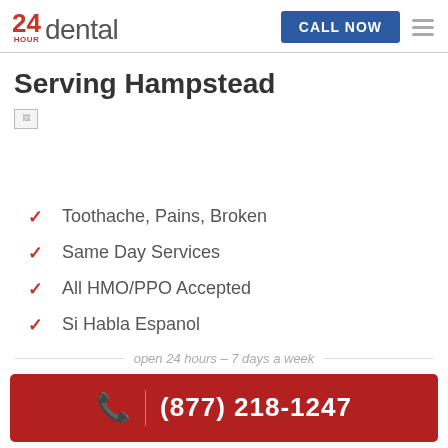24 HOUR dental | CALL NOW
Serving Hampstead
[Figure (photo): Broken/unloaded image placeholder]
Toothache, Pains, Broken
Same Day Services
All HMO/PPO Accepted
Si Habla Espanol
open 24 hours – 7 days a week
(877) 218-1247
CALL ANYTIME IT'S FREE